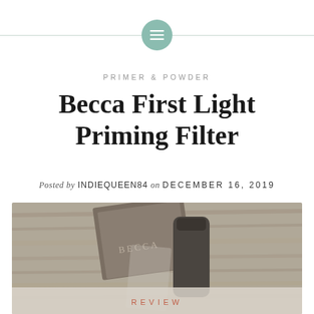[Figure (logo): Teal circular logo icon with horizontal lines (menu/text icon) centered on a horizontal line divider]
PRIMER & POWDER
Becca First Light Priming Filter
Posted by INDIEQUEEN84 on DECEMBER 16, 2019
[Figure (photo): Photo of Becca cosmetic products (a flat compact and a tube/bottle) on a wooden surface, with a semi-transparent overlay at the bottom reading REVIEW in coral/red text]